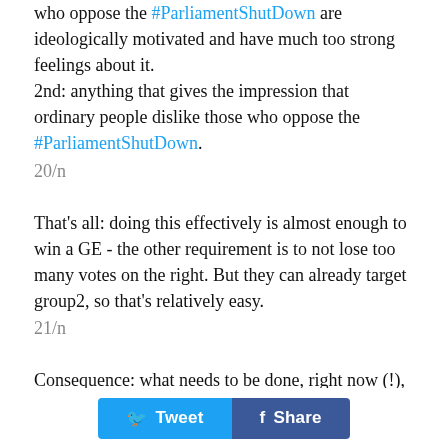who oppose the #ParliamentShutDown are ideologically motivated and have much too strong feelings about it.
2nd: anything that gives the impression that ordinary people dislike those who oppose the #ParliamentShutDown.
20/n
That's all: doing this effectively is almost enough to win a GE - the other requirement is to not lose too many votes on the right. But they can already target group2, so that's relatively easy.
21/n
Consequence: what needs to be done, right now (!), is